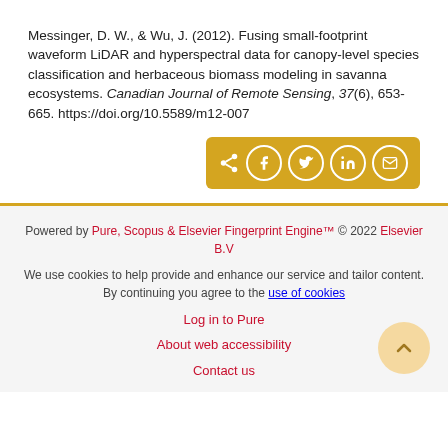Messinger, D. W., & Wu, J. (2012). Fusing small-footprint waveform LiDAR and hyperspectral data for canopy-level species classification and herbaceous biomass modeling in savanna ecosystems. Canadian Journal of Remote Sensing, 37(6), 653-665. https://doi.org/10.5589/m12-007
[Figure (other): Social share button bar with icons for share, Facebook, Twitter, LinkedIn, and email on a gold/amber background]
Powered by Pure, Scopus & Elsevier Fingerprint Engine™ © 2022 Elsevier B.V
We use cookies to help provide and enhance our service and tailor content. By continuing you agree to the use of cookies
Log in to Pure
About web accessibility
Contact us